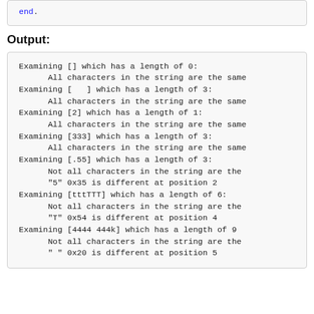end.
Output:
Examining [] which has a length of 0:
      All characters in the string are the same
Examining [   ] which has a length of 3:
      All characters in the string are the same
Examining [2] which has a length of 1:
      All characters in the string are the same
Examining [333] which has a length of 3:
      All characters in the string are the same
Examining [.55] which has a length of 3:
      Not all characters in the string are the
      "5" 0x35 is different at position 2
Examining [tttTTT] which has a length of 6:
      Not all characters in the string are the
      "T" 0x54 is different at position 4
Examining [4444 444k] which has a length of 9:
      Not all characters in the string are the
      " " 0x20 is different at position 5